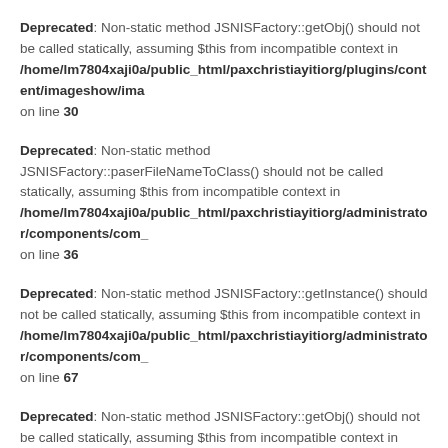Deprecated: Non-static method JSNISFactory::getObj() should not be called statically, assuming $this from incompatible context in /home/lm7804xaji0a/public_html/paxchristiayitiorg/plugins/content/imageshow/ima... on line 30
Deprecated: Non-static method JSNISFactory::paserFileNameToClass() should not be called statically, assuming $this from incompatible context in /home/lm7804xaji0a/public_html/paxchristiayitiorg/administrator/components/com_... on line 36
Deprecated: Non-static method JSNISFactory::getInstance() should not be called statically, assuming $this from incompatible context in /home/lm7804xaji0a/public_html/paxchristiayitiorg/administrator/components/com_... on line 67
Deprecated: Non-static method JSNISFactory::getObj() should not be called statically, assuming $this from incompatible context in /home/lm7804xaji0a/public_html/paxchristiayitiorg/plugins/content/imageshow/ima... on line 31
Deprecated: Non-static method JSNISFactory::paserFileNameToClass() should not be called statically, assuming $this from incompatible context in /home/lm7804xaji0a/public_html/paxchristiayitiorg/administrator/components/com_... on line 36
Deprecated: Non-static method JSNISFactory::getInstance() should not be called statically, assuming $this from incompatible context in